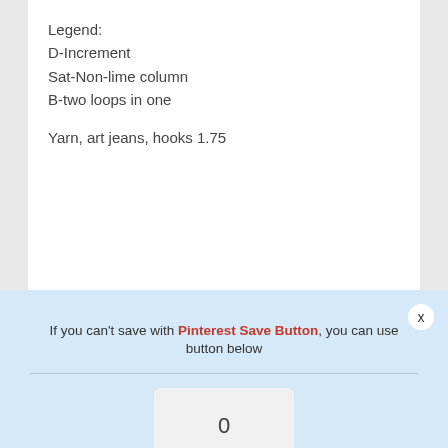Legend:
D-Increment
Sat-Non-lime column
B-two loops in one
Yarn, art jeans, hooks 1.75
[Figure (screenshot): Pinterest Save Button dialog overlay with blue background, showing a counter box displaying '0', a red Save button with Pinterest icon, a close button, and message: 'If you can't save with Pinterest Save Button, you can use button below']
6. (6SBN, d) = 48
7. (7SBN, d) = 54
8-13. = 54SBN
14.20 SBN, (1SBN, D) * 3r, 2SBN, (1SBN, D) * 3r, 20SBN = 60
15.20 SBN, (2SBB, D) * 3r, 2SBB, (2SBB, D) * 3r, 20SBN = 66
16-20. = 66SBN
21.20 SBN, (2SBB, UB) * 3r, 2SBB, (2SBB, UB) * 3r, 20sb=60
22. = 60SBN
23.20 SBN, (1SBN, UB) * 3r, 2SBN, (1SBN, UB) * 3r,